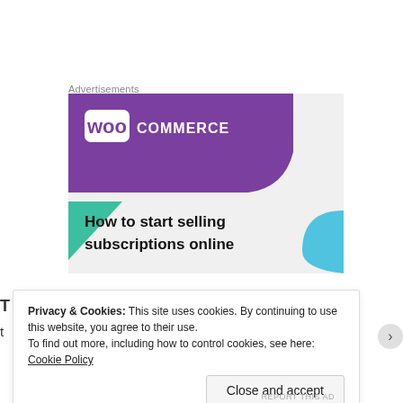Advertisements
[Figure (illustration): WooCommerce advertisement banner. Purple header with WooCommerce logo (woo box + COMMERCE text), teal/green triangle on lower left, cyan arc on lower right, text reading 'How to start selling subscriptions online' on light grey background.]
Privacy & Cookies: This site uses cookies. By continuing to use this website, you agree to their use.
To find out more, including how to control cookies, see here: Cookie Policy
Close and accept